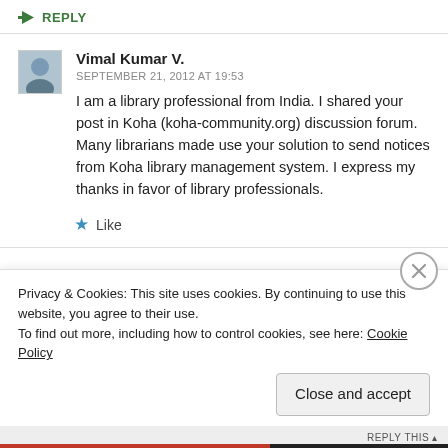↳ REPLY
Vimal Kumar V.
SEPTEMBER 21, 2012 AT 19:53
I am a library professional from India. I shared your post in Koha (koha-community.org) discussion forum. Many librarians made use your solution to send notices from Koha library management system. I express my thanks in favor of library professionals.
★ Like
Privacy & Cookies: This site uses cookies. By continuing to use this website, you agree to their use.
To find out more, including how to control cookies, see here: Cookie Policy
Close and accept